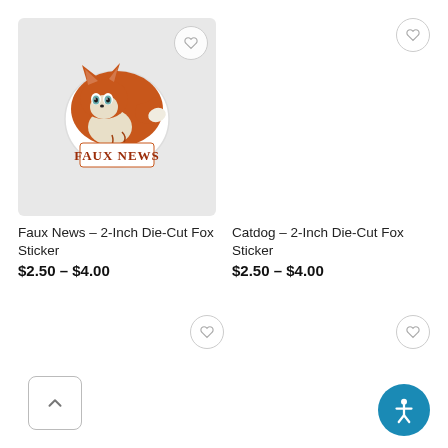[Figure (illustration): Faux News fox sticker product image - cartoon curled fox with text FAUX NEWS below it, on gray background]
[Figure (illustration): Catdog 2-inch Die-Cut Fox Sticker product image placeholder - empty white area with heart/wishlist button]
Faux News – 2-Inch Die-Cut Fox Sticker
$2.50 – $4.00
Catdog – 2-Inch Die-Cut Fox Sticker
$2.50 – $4.00
[Figure (illustration): Third product card partial view - heart/wishlist button visible]
[Figure (illustration): Fourth product card partial view - heart/wishlist button visible, accessibility icon bottom right]